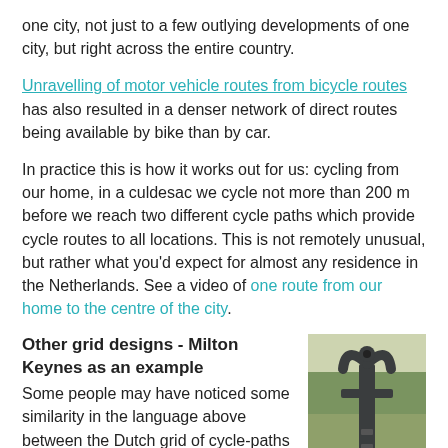one city, not just to a few outlying developments of one city, but right across the entire country.
Unravelling of motor vehicle routes from bicycle routes has also resulted in a denser network of direct routes being available by bike than by car.
In practice this is how it works out for us: cycling from our home, in a culdesac we cycle not more than 200 m before we reach two different cycle paths which provide cycle routes to all locations. This is not remotely unusual, but rather what you'd expect for almost any residence in the Netherlands. See a video of one route from our home to the centre of the city.
Other grid designs - Milton Keynes as an example
Some people may have noticed some similarity in the language above between the Dutch grid of cycle-paths and the grid of routes for cars which exists in cities in many other nations.
[Figure (photo): A stone or metal signpost structure in a wooded/field area, appears to be a Dutch cycling route junction sign (knooppunt).]